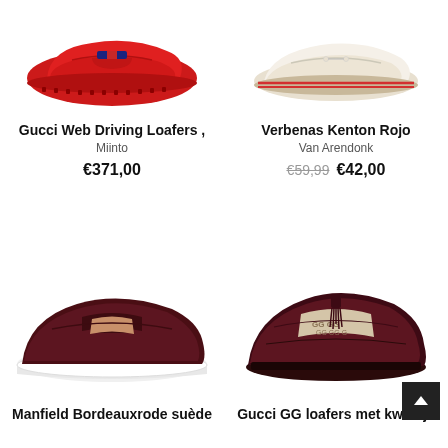[Figure (photo): Red Gucci Web Driving Loafer shoe on white background, top-left product]
Gucci Web Driving Loafers ,
Miinto
€371,00
[Figure (photo): Verbenas Kenton Rojo shoe on white background, top-right product]
Verbenas Kenton Rojo
Van Arendonk
€59,99  €42,00
[Figure (photo): Manfield Bordeauxrode suede loafer with white sole on white background, bottom-left product]
Manfield Bordeauxrode suède
[Figure (photo): Gucci GG loafers met kwastje, dark burgundy with GG monogram fabric detail, bottom-right product]
Gucci GG loafers met kwastje